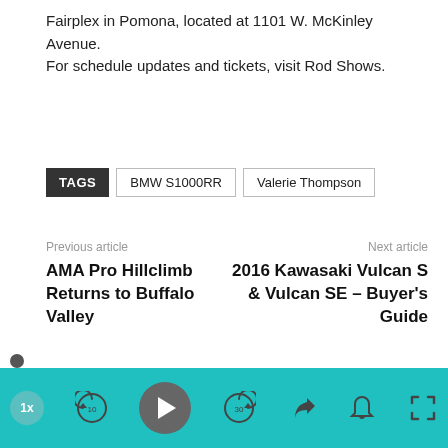Fairplex in Pomona, located at 1101 W. McKinley Avenue. For schedule updates and tickets, visit Rod Shows.
TAGS   BMW S1000RR   Valerie Thompson
Previous article — AMA Pro Hillclimb Returns to Buffalo Valley
Next article — 2016 Kawasaki Vulcan S & Vulcan SE – Buyer's Guide
[Figure (other): Media player widget with teal bottom bar showing playback controls: 1x speed, skip back 10, play button, skip forward 30, share, bell, and fullscreen icons.]